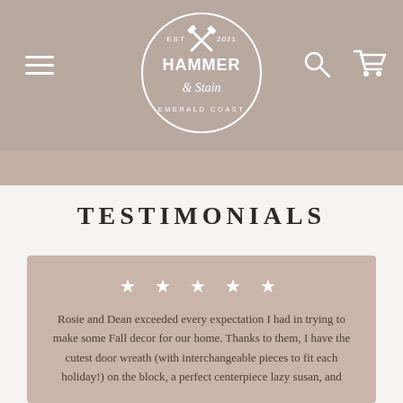[Figure (logo): Hammer & Stain Emerald Coast logo — circular badge with crossed hammers, EST 2021 text, brand name in serif and script fonts, white on dark background]
TESTIMONIALS
★ ★ ★ ★ ★
Rosie and Dean exceeded every expectation I had in trying to make some Fall decor for our home. Thanks to them, I have the cutest door wreath (with interchangeable pieces to fit each holiday!) on the block, a perfect centerpiece lazy susan, and